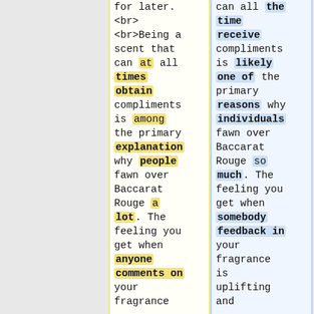for later. <br> <br>Being a scent that can at all times obtain compliments is among the primary explanation why people fawn over Baccarat Rouge a lot. The feeling you get when anyone comments on your fragrance
can all the time receive compliments is likely one of the primary reasons why individuals fawn over Baccarat Rouge so much. The feeling you get when somebody feedback in your fragrance is uplifting and